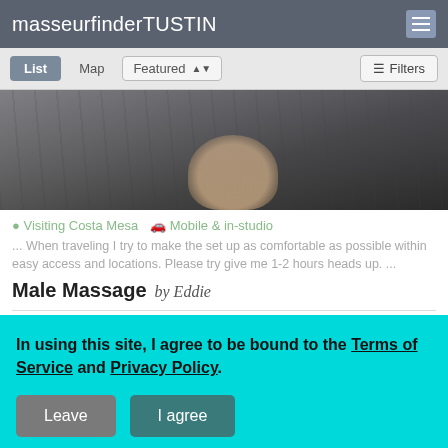masseurfinder TUSTIN
[Figure (photo): Person looking upward at stairs, dark moody outdoor photo]
Visiting Costa Mesa  Mobile & in-studio
... When traveling I try to make the set up as comfortable as possible within easy access and locations. Please try give me 1-2 hours heads up. ...
Male Massage by Eddie
In using this site, I agree to be bound to the Terms of Service and Privacy Policy.
Leave  I agree